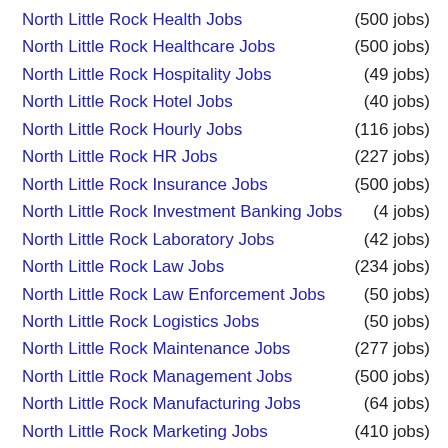North Little Rock Health Jobs (500 jobs)
North Little Rock Healthcare Jobs (500 jobs)
North Little Rock Hospitality Jobs (49 jobs)
North Little Rock Hotel Jobs (40 jobs)
North Little Rock Hourly Jobs (116 jobs)
North Little Rock HR Jobs (227 jobs)
North Little Rock Insurance Jobs (500 jobs)
North Little Rock Investment Banking Jobs (4 jobs)
North Little Rock Laboratory Jobs (42 jobs)
North Little Rock Law Jobs (234 jobs)
North Little Rock Law Enforcement Jobs (50 jobs)
North Little Rock Logistics Jobs (50 jobs)
North Little Rock Maintenance Jobs (277 jobs)
North Little Rock Management Jobs (500 jobs)
North Little Rock Manufacturing Jobs (64 jobs)
North Little Rock Marketing Jobs (410 jobs)
North Little Rock Medical Jobs (500 jobs)
North Little Rock Medical Tech Jobs (52 jobs)
North Little Rock Merchandising Jobs (27 jobs)
North Little Rock Network Marketing Jobs (12 jobs)